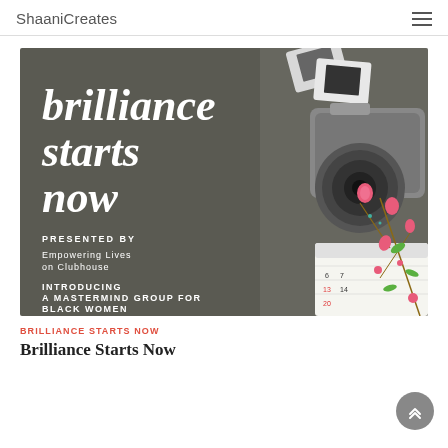ShaaniCreates
[Figure (infographic): Promotional graphic with dark gray background showing text 'brilliance starts now', presented by Empowering Lives on Clubhouse, introducing a mastermind group for Black Women, Sundays at 12pm ET. Decorative floral illustration in center and camera, film slides, and calendar on the right side.]
BRILLIANCE STARTS NOW
Brilliance Starts Now